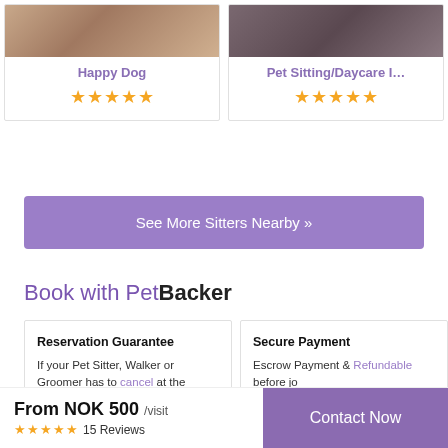[Figure (photo): Photo of Happy Dog service listing — person with dog, warm toned]
Happy Dog
[Figure (other): 5-star rating for Happy Dog]
[Figure (photo): Photo of Pet Sitting/Daycare listing — person holding pet, dark toned]
Pet Sitting/Daycare I…
[Figure (other): 5-star rating for Pet Sitting/Daycare]
See More Sitters Nearby »
Book with PetBacker
Reservation Guarantee
If your Pet Sitter, Walker or Groomer has to cancel at the
Secure Payment
Escrow Payment & Refundable before jo
From NOK 500 /visit
[Figure (other): 5-star rating with 15 Reviews]
Contact Now